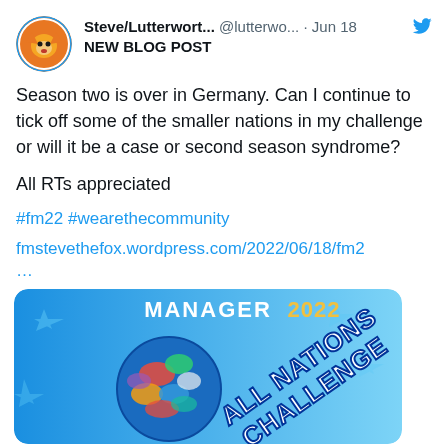[Figure (logo): Lutterwort FM Blogger circular avatar logo with fox mascot on orange/white background]
Steve/Lutterwort... @lutterwo... · Jun 18
NEW BLOG POST
Season two is over in Germany. Can I continue to tick off some of the smaller nations in my challenge or will it be a case or second season syndrome?
All RTs appreciated
#fm22 #wearethecommunity
fmstevethefox.wordpress.com/2022/06/18/fm2
…
[Figure (screenshot): Football Manager 2022 All Nations Challenge promotional image with globe covered in national flags on blue background]